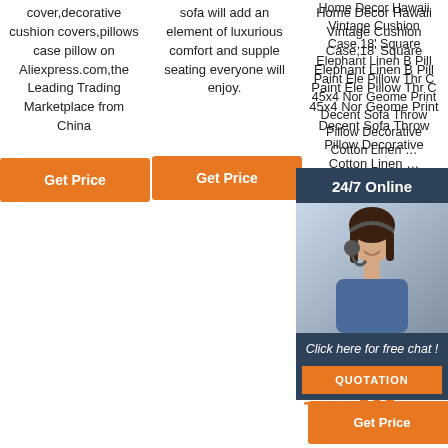cover,decorative cushion covers,pillows case pillow on Aliexpress.com,the Leading Trading Marketplace from China
[Figure (other): Orange 'Get Price' button]
sofa will add an element of luxurious comfort and supple seating everyone will enjoy.
[Figure (other): Orange 'Get Price' button]
Home Decor Hawaii Vintage Cushion Case,18' Square Elephant Linen Blend Pillow Painted Elephant Pillow Throw Cases 45x45cm Nordic Geometric Print Decent Sofa Throw Pillow Decorative Cotton Linen …
[Figure (other): 24/7 online chat overlay with customer service agent photo, 'Click here for free chat!' text, and QUOTATION button]
[Figure (other): Orange 'Get Price' button]